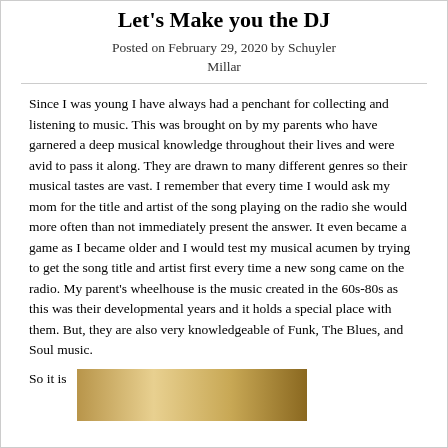Let's Make you the DJ
Posted on February 29, 2020 by Schuyler Millar
Since I was young I have always had a penchant for collecting and listening to music. This was brought on by my parents who have garnered a deep musical knowledge throughout their lives and were avid to pass it along. They are drawn to many different genres so their musical tastes are vast. I remember that every time I would ask my mom for the title and artist of the song playing on the radio she would more often than not immediately present the answer. It even became a game as I became older and I would test my musical acumen by trying to get the song title and artist first every time a new song came on the radio. My parent's wheelhouse is the music created in the 60s-80s as this was their developmental years and it holds a special place with them. But, they are also very knowledgeable of Funk, The Blues, and Soul music.
So it is
[Figure (photo): A golden/brown toned photo, partially visible at the bottom of the page]